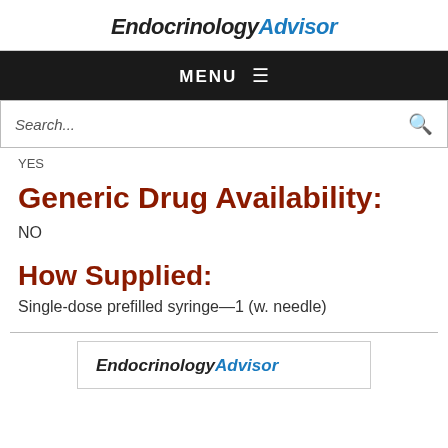EndocrinologyAdvisor
MENU
Search...
YES
Generic Drug Availability:
NO
How Supplied:
Single-dose prefilled syringe—1 (w. needle)
[Figure (logo): EndocrinologyAdvisor logo in a bordered box at the bottom of the page]